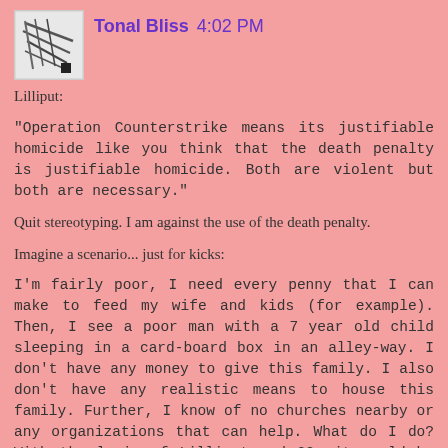Tonal Bliss 4:02 PM
Lilliput:
"Operation Counterstrike means its justifiable homicide like you think that the death penalty is justifiable homicide. Both are violent but both are necessary."

Quit stereotyping. I am against the use of the death penalty.

Imagine a scenario... just for kicks:

I'm fairly poor, I need every penny that I can make to feed my wife and kids (for example). Then, I see a poor man with a 7 year old child sleeping in a card-board box in an alley-way. I don't have any money to give this family. I also don't have any realistic means to house this family. Further, I know of no churches nearby or any organizations that can help. What do I do? With the logic of Lilliput and OC, it would be best to get out my trusty battle-life and slit their throats. That way, it will end their misery. And, by your logic, this kind of action should be legal and encouraged. We could even setup clinics to prevent the transmission of